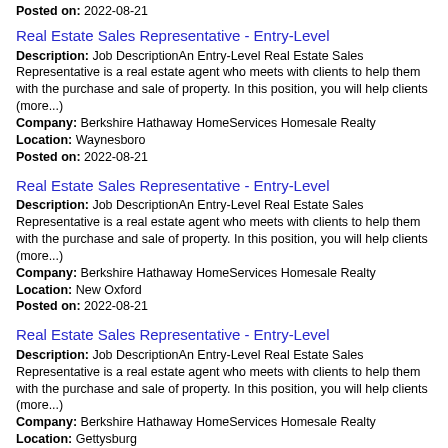Posted on: 2022-08-21
Real Estate Sales Representative - Entry-Level
Description: Job DescriptionAn Entry-Level Real Estate Sales Representative is a real estate agent who meets with clients to help them with the purchase and sale of property. In this position, you will help clients (more...)
Company: Berkshire Hathaway HomeServices Homesale Realty
Location: Waynesboro
Posted on: 2022-08-21
Real Estate Sales Representative - Entry-Level
Description: Job DescriptionAn Entry-Level Real Estate Sales Representative is a real estate agent who meets with clients to help them with the purchase and sale of property. In this position, you will help clients (more...)
Company: Berkshire Hathaway HomeServices Homesale Realty
Location: New Oxford
Posted on: 2022-08-21
Real Estate Sales Representative - Entry-Level
Description: Job DescriptionAn Entry-Level Real Estate Sales Representative is a real estate agent who meets with clients to help them with the purchase and sale of property. In this position, you will help clients (more...)
Company: Berkshire Hathaway HomeServices Homesale Realty
Location: Gettysburg
Posted on: 2022-08-21